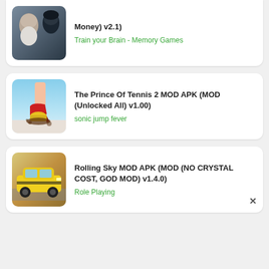[Figure (screenshot): App card 1 partial - warrior/game image with text: Money) v2.1) and link Train your Brain - Memory Games]
Money) v2.1)
Train your Brain - Memory Games
[Figure (screenshot): App card 2 - high heel shoe game image]
The Prince Of Tennis 2 MOD APK (MOD (Unlocked All) v1.00)
sonic jump fever
[Figure (screenshot): App card 3 - yellow racing car image]
Rolling Sky MOD APK (MOD (NO CRYSTAL COST, GOD MOD) v1.4.0)
Role Playing